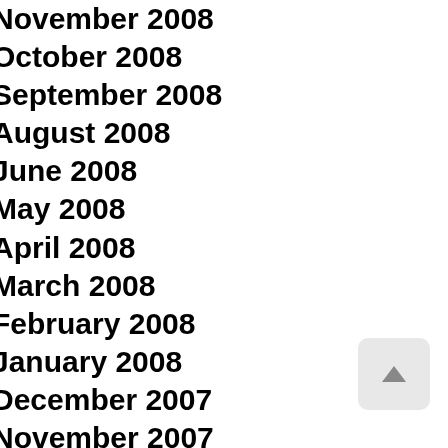November 2008
October 2008
September 2008
August 2008
June 2008
May 2008
April 2008
March 2008
February 2008
January 2008
December 2007
November 2007
October 2007
September 2007
August 2007